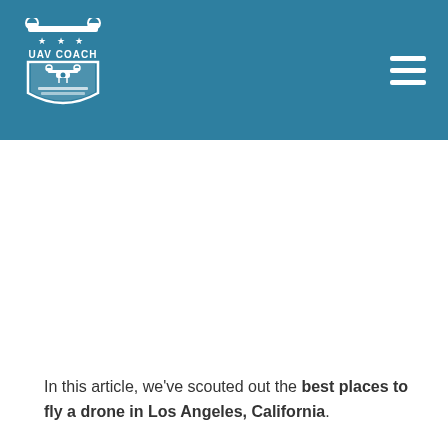[Figure (logo): UAV Coach logo — white drone/shield icon with text UAV COACH on a teal/blue header background]
In this article, we've scouted out the best places to fly a drone in Los Angeles, California.
If you live in (or are traveling to) Los Angeles, please